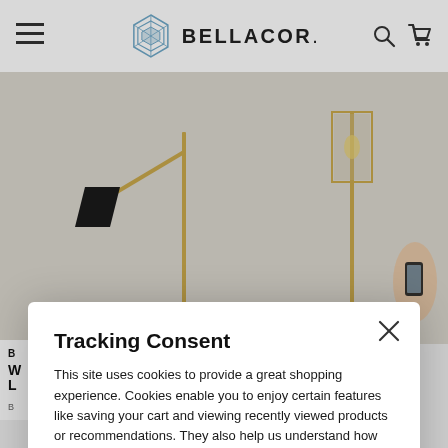[Figure (screenshot): Bellacor website header with hamburger menu on left, Bellacor logo in center (geometric diamond logo with text BELLACOR.), search and cart icons on right]
[Figure (photo): Hero image showing two floor lamps on a light background - left lamp is a brass adjustable arc floor lamp with black shade, right lamp is a brass floor lamp with clear glass cylindrical shade, a hand holding a phone is visible on the far right]
[Figure (screenshot): Tracking Consent modal dialog overlay on the Bellacor website with title, body text about cookies and privacy policy, and a Continue button]
Tracking Consent
This site uses cookies to provide a great shopping experience. Cookies enable you to enjoy certain features like saving your cart and viewing recently viewed products or recommendations. They also help us understand how our site is being used. We also share information about your use on our site with other advertising and analytics partners. By continuing to use our site you consent to our use of cookies. See our Privacy Policy for details.